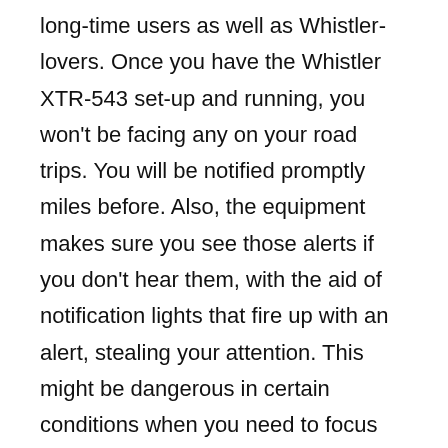long-time users as well as Whistler-lovers. Once you have the Whistler XTR-543 set-up and running, you won't be facing any on your road trips. You will be notified promptly miles before. Also, the equipment makes sure you see those alerts if you don't hear them, with the aid of notification lights that fire up with an alert, stealing your attention. This might be dangerous in certain conditions when you need to focus on the road, so be careful and don't react too quickly to the visual notification while driving in a tight spot or near a turn. Your life is more precious than avoiding a speeding ticket (Read: Speeding Facts from the National Highway Traffic Safety Administration).